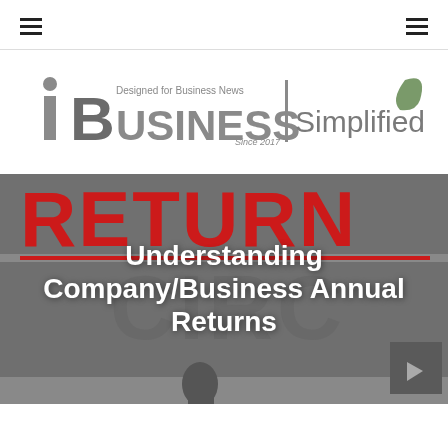Navigation header with hamburger menus on left and right
[Figure (logo): iBusiness Simplified logo — 'i' with dot, large 'Business' text, 'Designed for Business News Since 2017' tagline, vertical bar separator, 'Simplified' text with leaf icon, all in grey/dark-grey tones]
[Figure (photo): Hero image with large red 'RETURN' text on grey background, person standing at podium, overlaid with white bold title text 'Understanding Company/Business Annual Returns' and a small dark thumbnail icon in lower right corner]